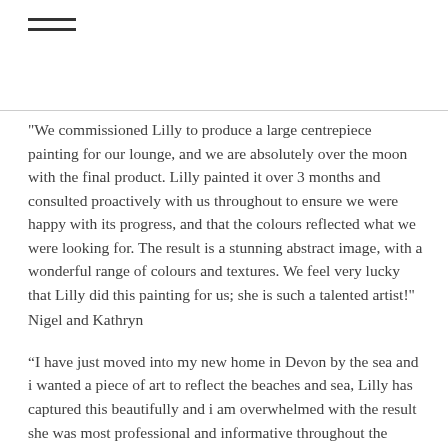≡ (hamburger menu icon)
"We commissioned Lilly to produce a large centrepiece painting for our lounge, and we are absolutely over the moon with the final product. Lilly painted it over 3 months and consulted proactively with us throughout to ensure we were happy with its progress, and that the colours reflected what we were looking for. The result is a stunning abstract image, with a wonderful range of colours and textures. We feel very lucky that Lilly did this painting for us; she is such a talented artist!"
Nigel and Kathryn
“I have just moved into my new home in Devon by the sea and i wanted a piece of art to reflect the beaches and sea, Lilly has captured this beautifully and i am overwhelmed with the result she was most professional and informative throughout the whole process thank